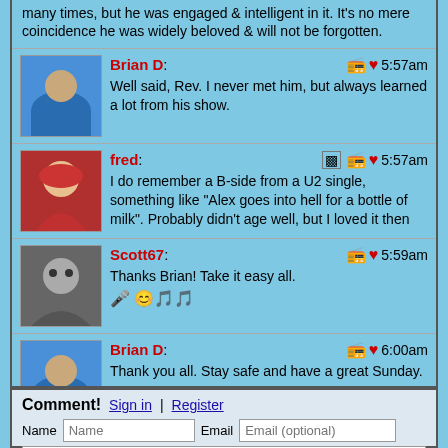many times, but he was engaged & intelligent in it. It's no mere coincidence he was widely beloved & will not be forgotten.
Brian D: Well said, Rev. I never met him, but always learned a lot from his show. 5:57am
fred: I do remember a B-side from a U2 single, something like "Alex goes into hell for a bottle of milk". Probably didn't age well, but I loved it then 5:57am
Scott67: Thanks Brian! Take it easy all. 5:59am
Brian D: Thank you all. Stay safe and have a great Sunday. 6:00am
Comment! Sign in | Register
Name | Email | Your comment